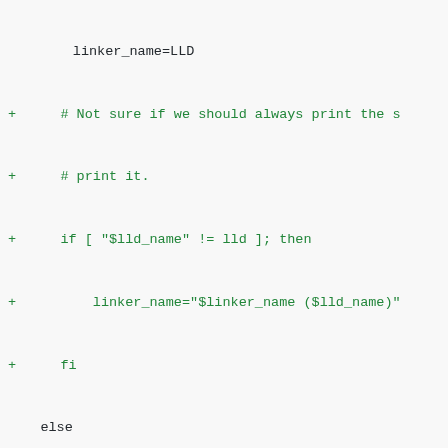Code diff showing shell script changes including linker_name assignments, conditional logic, and shift/case statement modifications
@@ 480,36 474,38 @@ shift $((OPTIND - 1))